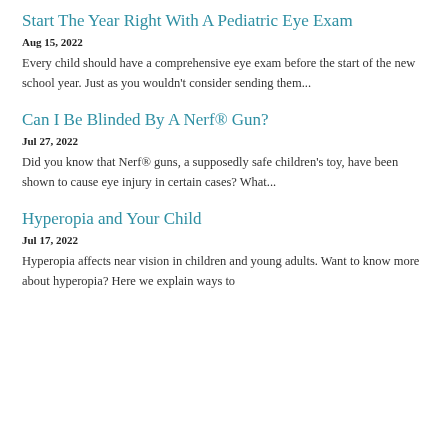Start The Year Right With A Pediatric Eye Exam
Aug 15, 2022
Every child should have a comprehensive eye exam before the start of the new school year. Just as you wouldn't consider sending them...
Can I Be Blinded By A Nerf® Gun?
Jul 27, 2022
Did you know that Nerf® guns, a supposedly safe children's toy, have been shown to cause eye injury in certain cases? What...
Hyperopia and Your Child
Jul 17, 2022
Hyperopia affects near vision in children and young adults. Want to know more about hyperopia? Here we explain ways to